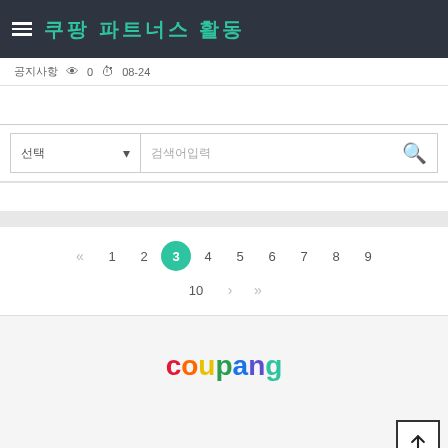쿠팡 파트너스 활동
공지사항  👁 0  ⏱ 08-24
선택 ▼  검색어입력  🔍
« 1 2 3 4 5 6 7 8 9 10 › »
[Figure (logo): Coupang multicolor logo]
쿠팡 파트너스 활동을 통해 일정액의 수수료를 제공받을 수 있습니다!